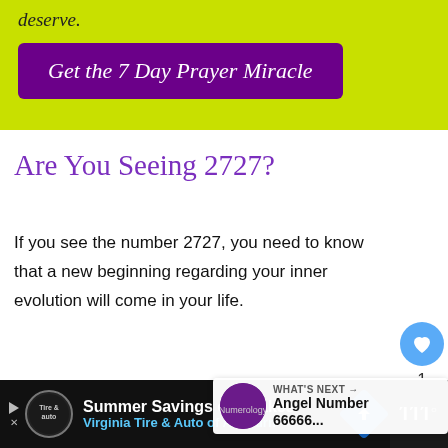deserve.
[Figure (other): Purple button with italic white text: Get the 7 Day Prayer Miracle, on a yellow-green background]
Are You Seeing 2727?
If you see the number 2727, you need to know that a new beginning regarding your inner evolution will come in your life.
You will receive a lot of new information, and your spiritual guides are helping you and supporting everything you do at this time.
[Figure (infographic): What's Next overlay showing Angel Number 66666...]
[Figure (infographic): Advertisement bar: Summer Savings on Brakes, Virginia Tire and Auto of Ashburn]